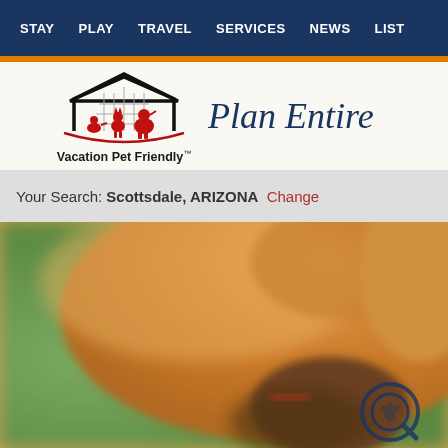STAY  PLAY  TRAVEL  SERVICES  NEWS  LIST
[Figure (logo): Vacation Pet Friendly logo: house outline with pet silhouettes (dog, cat) in red, black roof lines]
Plan Entire
Your Search: Scottsdale, ARIZONA  Change
[Figure (photo): Close-up photo of a dog lying on its back outdoors, golden/orange fur, with blurred green background, a search/paw icon overlay in lower right corner]